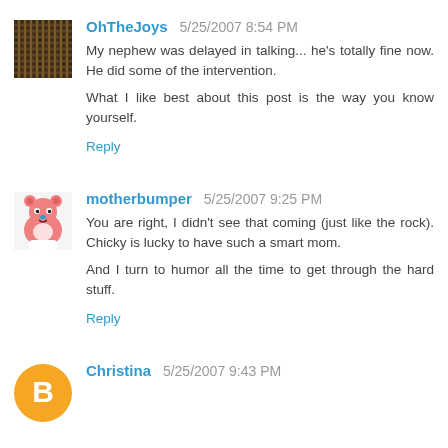[Figure (photo): Avatar image for OhTheJoys - appears to be a close-up photo with woven/basket texture pattern]
OhTheJoys 5/25/2007 8:54 PM
My nephew was delayed in talking... he's totally fine now. He did some of the intervention.

What I like best about this post is the way you know yourself.
Reply
[Figure (photo): Avatar image for motherbumper - pink cartoon bear/toy figure]
motherbumper 5/25/2007 9:25 PM
You are right, I didn't see that coming (just like the rock). Chicky is lucky to have such a smart mom.

And I turn to humor all the time to get through the hard stuff.
Reply
[Figure (logo): Avatar for Christina - orange/yellow Blogger B logo circle]
Christina 5/25/2007 9:43 PM